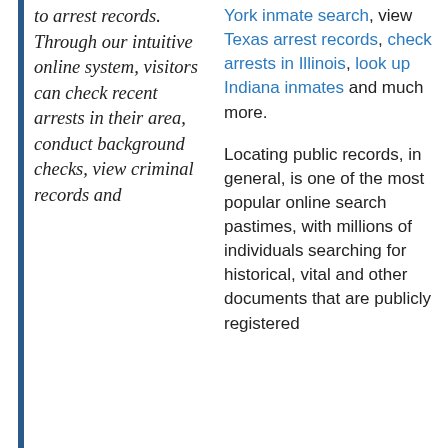to arrest records. Through our intuitive online system, visitors can check recent arrests in their area, conduct background checks, view criminal records and
York inmate search, view Texas arrest records, check arrests in Illinois, look up Indiana inmates and much more.

Locating public records, in general, is one of the most popular online search pastimes, with millions of individuals searching for historical, vital and other documents that are publicly registered